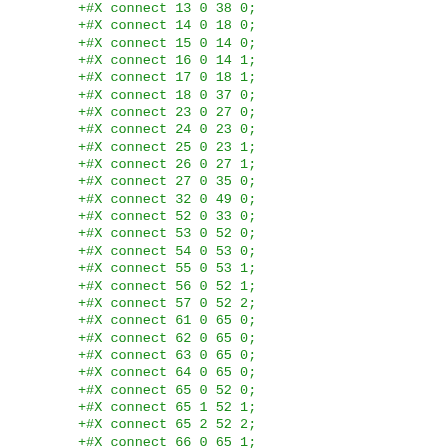+#X connect 13 0 38 0;
+#X connect 14 0 18 0;
+#X connect 15 0 14 0;
+#X connect 16 0 14 1;
+#X connect 17 0 18 1;
+#X connect 18 0 37 0;
+#X connect 23 0 27 0;
+#X connect 24 0 23 0;
+#X connect 25 0 23 1;
+#X connect 26 0 27 1;
+#X connect 27 0 35 0;
+#X connect 32 0 49 0;
+#X connect 52 0 33 0;
+#X connect 53 0 52 0;
+#X connect 54 0 53 0;
+#X connect 55 0 53 1;
+#X connect 56 0 52 1;
+#X connect 57 0 52 2;
+#X connect 61 0 65 0;
+#X connect 62 0 65 0;
+#X connect 63 0 65 0;
+#X connect 64 0 65 0;
+#X connect 65 0 52 0;
+#X connect 65 1 52 1;
+#X connect 65 2 52 2;
+#X connect 66 0 65 1;
+#X connect 67 0 65 2;
+#X connect 68 0 65 3;
+#X restore 166 220 pd edit;
+#X text 150 264 updated for Pd version 0.34;